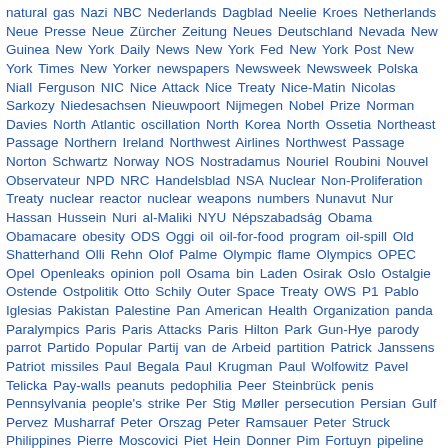natural gas Nazi NBC Nederlands Dagblad Neelie Kroes Netherlands Neue Presse Neue Zürcher Zeitung Neues Deutschland Nevada New Guinea New York Daily News New York Fed New York Post New York Times New Yorker newspapers Newsweek Newsweek Polska Niall Ferguson NIC Nice Attack Nice Treaty Nice-Matin Nicolas Sarkozy Niedesachsen Nieuwpoort Nijmegen Nobel Prize Norman Davies North Atlantic oscillation North Korea North Ossetia Northeast Passage Northern Ireland Northwest Airlines Northwest Passage Norton Schwartz Norway NOS Nostradamus Nouriel Roubini Nouvel Observateur NPD NRC Handelsblad NSA Nuclear Non-Proliferation Treaty nuclear reactor nuclear weapons numbers Nunavut Nur Hassan Hussein Nuri al-Maliki NYU Népszabadság Obama Obamacare obesity ODS Oggi oil oil-for-food program oil-spill Old Shatterhand Olli Rehn Olof Palme Olympic flame Olympics OPEC Opel Openleaks opinion poll Osama bin Laden Osirak Oslo Ostalgie Ostende Ostpolitik Otto Schily Outer Space Treaty OWS P1 Pablo Iglesias Pakistan Palestine Pan American Health Organization panda Paralympics Paris Paris Attacks Paris Hilton Park Gun-Hye parody parrot Partido Popular Partij van de Arbeid partition Patrick Janssens Patriot missiles Paul Begala Paul Krugman Paul Wolfowitz Pavel Telicka Pay-walls peanuts pedophilia Peer Steinbrück penis Pennsylvania people's strike Per Stig Møller persecution Persian Gulf Pervez Musharraf Peter Orszag Peter Ramsauer Peter Struck Philippines Pierre Moscovici Piet Hein Donner Pim Fortuyn pipeline pirate radio pirates Pirelli building PiS Pius XII plastic surgery Playboy Podemos poison poker Poland Poles police Polish Air Force Polish Express Polish sector Politiken Polska Polskie Radio pop culture Pope Benedict XVI Pope Francis Pope John Paul II Porsche Porto Portugal Potsdam Poul Høi Prague Prague Spring preamble pregnancy press freedom Presse Anzeiger pressetext presseurop Preußische Treuhand Prince Bernhard Prince Philippe Princess Diana Prism prison privatization prostitution protestors prudish